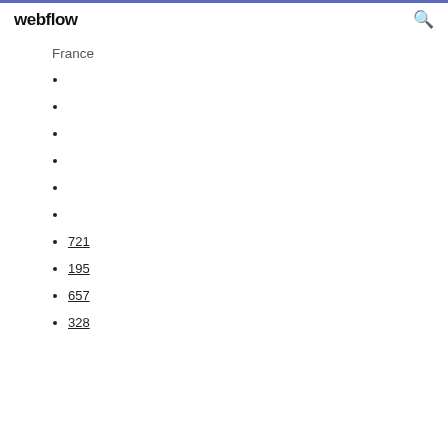webflow
France
721
195
657
328